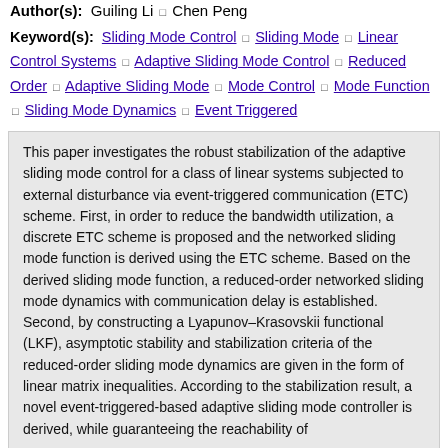Author(s): Guiling Li □ Chen Peng
Keyword(s): Sliding Mode Control □ Sliding Mode □ Linear Control Systems □ Adaptive Sliding Mode Control □ Reduced Order □ Adaptive Sliding Mode □ Mode Control □ Mode Function □ Sliding Mode Dynamics □ Event Triggered
This paper investigates the robust stabilization of the adaptive sliding mode control for a class of linear systems subjected to external disturbance via event-triggered communication (ETC) scheme. First, in order to reduce the bandwidth utilization, a discrete ETC scheme is proposed and the networked sliding mode function is derived using the ETC scheme. Based on the derived sliding mode function, a reduced-order networked sliding mode dynamics with communication delay is established. Second, by constructing a Lyapunov–Krasovskii functional (LKF), asymptotic stability and stabilization criteria of the reduced-order sliding mode dynamics are given in the form of linear matrix inequalities. According to the stabilization result, a novel event-triggered-based adaptive sliding mode controller is derived, while guaranteeing the reachability of